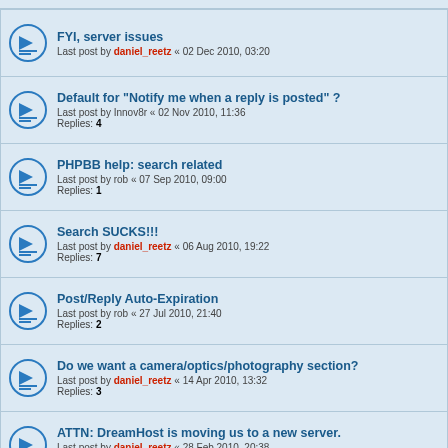FYI, server issues — Last post by daniel_reetz « 02 Dec 2010, 03:20
Default for "Notify me when a reply is posted" ? — Last post by Innov8r « 02 Nov 2010, 11:36 — Replies: 4
PHPBB help: search related — Last post by rob « 07 Sep 2010, 09:00 — Replies: 1
Search SUCKS!!! — Last post by daniel_reetz « 06 Aug 2010, 19:22 — Replies: 7
Post/Reply Auto-Expiration — Last post by rob « 27 Jul 2010, 21:40 — Replies: 2
Do we want a camera/optics/photography section? — Last post by daniel_reetz « 14 Apr 2010, 13:32 — Replies: 3
ATTN: DreamHost is moving us to a new server. — Last post by daniel_reetz « 28 Feb 2010, 20:38 — Replies: 1
Locked | 30 topics | Page 1 2 | Jump to